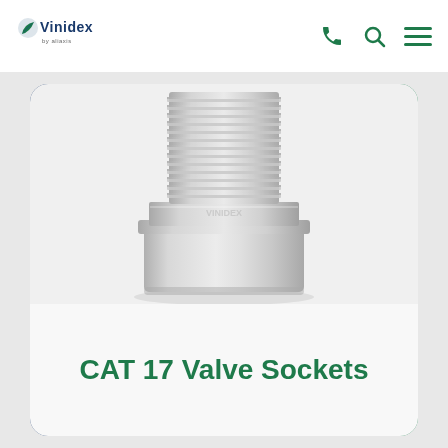[Figure (logo): Vinidex by aliaxis logo - dark blue text with leaf motif]
[Figure (photo): White PVC CAT 17 Valve Socket fitting - cylindrical body with threaded male end at top and socket end at bottom]
CAT 17 Valve Sockets